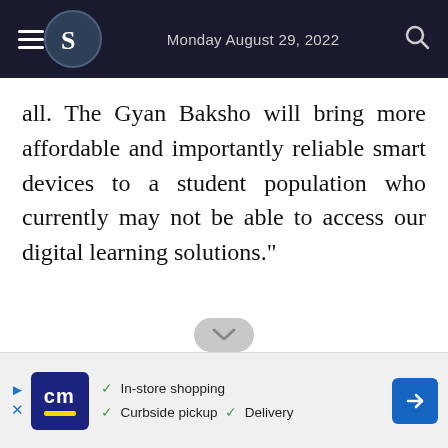Monday August 29, 2022
all. The Gyan Baksho will bring more affordable and importantly reliable smart devices to a student population who currently may not be able to access our digital learning solutions."
[Figure (other): Advertisement banner: CM logo (dark blue box with yellow underline), checkmarks for In-store shopping, Curbside pickup, Delivery, and a blue diamond direction arrow icon]